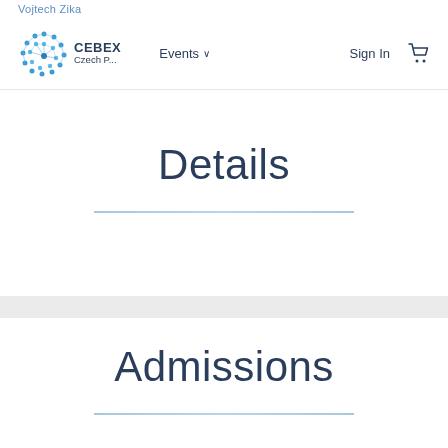Vojtech Zika
[Figure (logo): CEBEX Czech logo with blue dot-network sphere icon]
Events ∨
Sign In
Details
Admissions